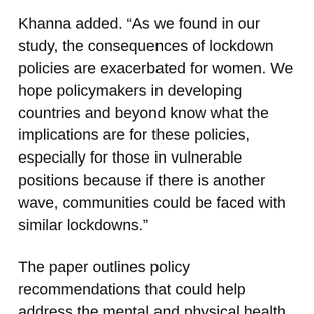Khanna added. “As we found in our study, the consequences of lockdown policies are exacerbated for women. We hope policymakers in developing countries and beyond know what the implications are for these policies, especially for those in vulnerable positions because if there is another wave, communities could be faced with similar lockdowns.”
The paper outlines policy recommendations that could help address the mental and physical health consequences experienced by women during the pandemic.
“Policymakers should consider what supportive measures are necessary to limit economic devastation